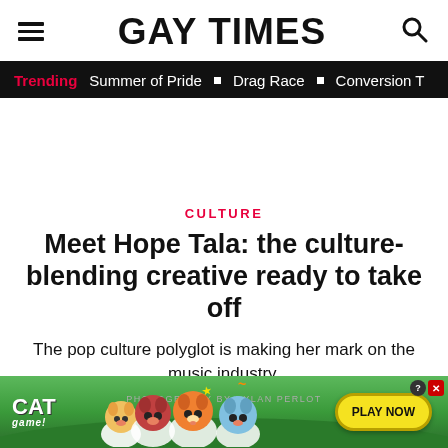GAY TIMES
Trending  Summer of Pride  Drag Race  Conversion T
CULTURE
Meet Hope Tala: the culture-blending creative ready to take off
The pop culture polyglot is making her mark on the music industry.
PHOTOGRAPHY BY DYLAN PERLOT
[Figure (screenshot): Advertisement banner for 'Cat Game' mobile app showing cartoon cats and a 'PLAY NOW' button on a green background]